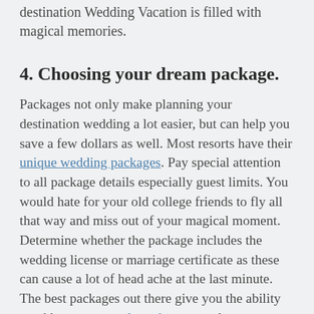destination Wedding Vacation is filled with magical memories.
4. Choosing your dream package.
Packages not only make planning your destination wedding a lot easier, but can help you save a few dollars as well. Most resorts have their unique wedding packages. Pay special attention to all package details especially guest limits. You would hate for your old college friends to fly all that way and miss out of your magical moment. Determine whether the package includes the wedding license or marriage certificate as these can cause a lot of head ache at the last minute. The best packages out there give you the ability to add your personal touches, not only to your wedding plans but also provide you with a personal honeymoon registry. With Bougainvillea's Honeymoon Wishes you